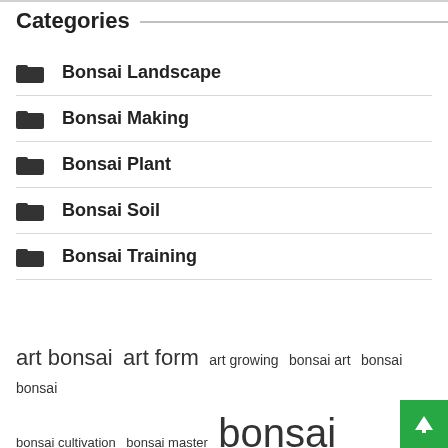Categories
Bonsai Landscape
Bonsai Making
Bonsai Plant
Bonsai Soil
Bonsai Training
art bonsai  art form  art growing  bonsai art  bonsai bonsai  bonsai cultivation  bonsai master  bonsai trees  grow bonsai  growing bonsai  high school  hundreds years  miniature trees  small trees  united states